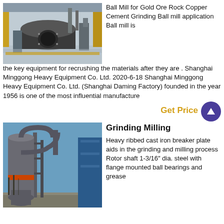[Figure (photo): Industrial ball mill equipment inside a factory with machinery and yellow structural elements]
Ball Mill for Gold Ore Rock Copper Cement Grinding Ball mill application Ball mill is the key equipment for recrushing the materials after they are . Shanghai Minggong Heavy Equipment Co. Ltd. 2020-6-18 Shanghai Minggong Heavy Equipment Co. Ltd. (Shanghai Daming Factory) founded in the year 1956 is one of the most influential manufacture
Get Price
[Figure (photo): Outdoor industrial grinding mill machine with pipes, scaffolding and blue structures against a blue sky]
Grinding Milling
Heavy ribbed cast iron breaker plate aids in the grinding and milling process Rotor shaft 1-3/16″ dia. steel with flange mounted ball bearings and grease